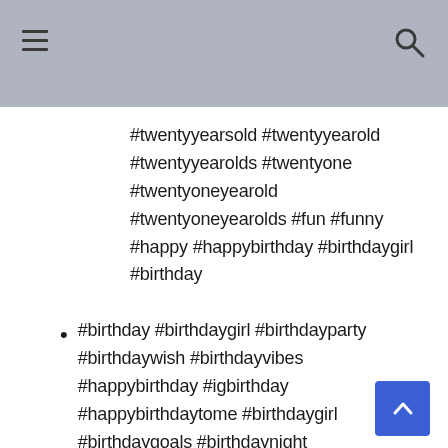#twentyyearsold #twentyyearold #twentyyearolds #twentyone #twentyoneyearold #twentyoneyearolds #fun #funny #happy #happybirthday #birthdaygirl #birthday
#birthday #birthdaygirl #birthdayparty #birthdaywish #birthdayvibes #happybirthday #igbirthday #happybirthdaytome #birthdaygirl #birthdaygoals #birthdaynight #birthdayoutfit